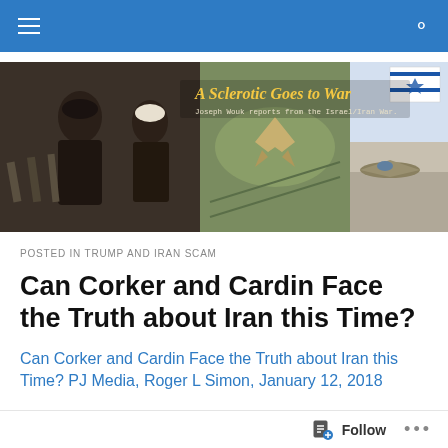Navigation bar with menu and search icons
[Figure (illustration): Blog header banner reading 'A Sclerotic Goes to War — Joseph Wouk reports from the Israel/Iran War.' with composite images of Iranian leaders, missiles, and Israeli fighter jets.]
POSTED IN TRUMP AND IRAN SCAM
Can Corker and Cardin Face the Truth about Iran this Time?
Can Corker and Cardin Face the Truth about Iran this Time? PJ Media, Roger L Simon, January 12, 2018